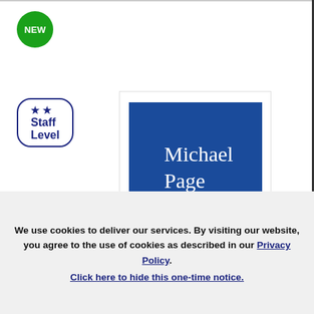[Figure (logo): Green circular badge with white text 'NEW']
★ ★ Staff Level
[Figure (logo): Michael Page logo — white serif text on blue square background]
Recruiter
Michael Page International Japan K.K./マイケル・ペイジ・インターナショナル・ジャパン株式会社
We use cookies to deliver our services. By visiting our website, you agree to the use of cookies as described in our Privacy Policy. Click here to hide this one-time notice.